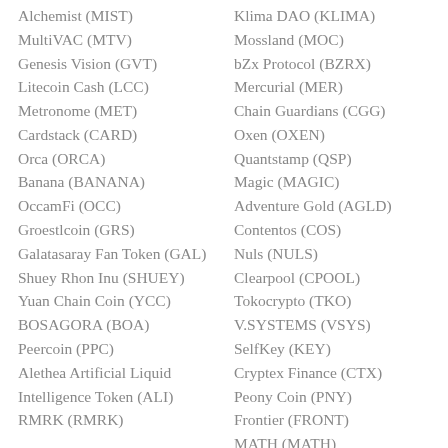Alchemist (MIST)
MultiVAC (MTV)
Genesis Vision (GVT)
Litecoin Cash (LCC)
Metronome (MET)
Cardstack (CARD)
Orca (ORCA)
Banana (BANANA)
OccamFi (OCC)
Groestlcoin (GRS)
Galatasaray Fan Token (GAL)
Shuey Rhon Inu (SHUEY)
Yuan Chain Coin (YCC)
BOSAGORA (BOA)
Peercoin (PPC)
Alethea Artificial Liquid Intelligence Token (ALI)
RMRK (RMRK)
Klima DAO (KLIMA)
Mossland (MOC)
bZx Protocol (BZRX)
Mercurial (MER)
Chain Guardians (CGG)
Oxen (OXEN)
Quantstamp (QSP)
Magic (MAGIC)
Adventure Gold (AGLD)
Contentos (COS)
Nuls (NULS)
Clearpool (CPOOL)
Tokocrypto (TKO)
V.SYSTEMS (VSYS)
SelfKey (KEY)
Cryptex Finance (CTX)
Peony Coin (PNY)
Frontier (FRONT)
MATH (MATH)